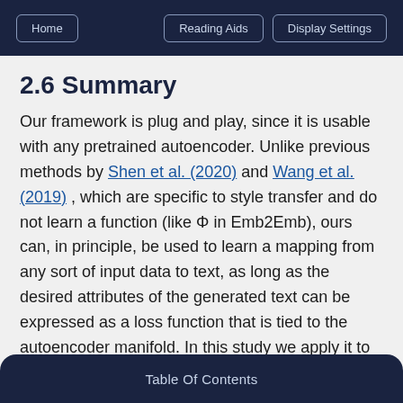Home | Reading Aids | Display Settings
2.6 Summary
Our framework is plug and play, since it is usable with any pretrained autoencoder. Unlike previous methods by Shen et al. (2020) and Wang et al. (2019) , which are specific to style transfer and do not learn a function (like Φ in Emb2Emb), ours can, in principle, be used to learn a mapping from any sort of input data to text, as long as the desired attributes of the generated text can be expressed as a loss function that is tied to the autoencoder manifold. In this study we apply it to
Table Of Contents